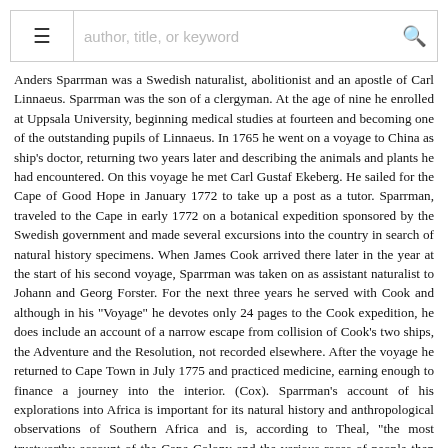author, title, or keyword
Anders Sparrman was a Swedish naturalist, abolitionist and an apostle of Carl Linnaeus. Sparrman was the son of a clergyman. At the age of nine he enrolled at Uppsala University, beginning medical studies at fourteen and becoming one of the outstanding pupils of Linnaeus. In 1765 he went on a voyage to China as ship's doctor, returning two years later and describing the animals and plants he had encountered. On this voyage he met Carl Gustaf Ekeberg. He sailed for the Cape of Good Hope in January 1772 to take up a post as a tutor. Sparrman, traveled to the Cape in early 1772 on a botanical expedition sponsored by the Swedish government and made several excursions into the country in search of natural history specimens. When James Cook arrived there later in the year at the start of his second voyage, Sparrman was taken on as assistant naturalist to Johann and Georg Forster. For the next three years he served with Cook and although in his "Voyage" he devotes only 24 pages to the Cook expedition, he does include an account of a narrow escape from collision of Cook's two ships, the Adventure and the Resolution, not recorded elsewhere. After the voyage he returned to Cape Town in July 1775 and practiced medicine, earning enough to finance a journey into the interior. (Cox). Sparrman's account of his explorations into Africa is important for its natural history and anthropological observations of Southern Africa and is, according to Theal, "the most trustworthy account of the Cape Colony and the various races of people then residing in it, that has been published